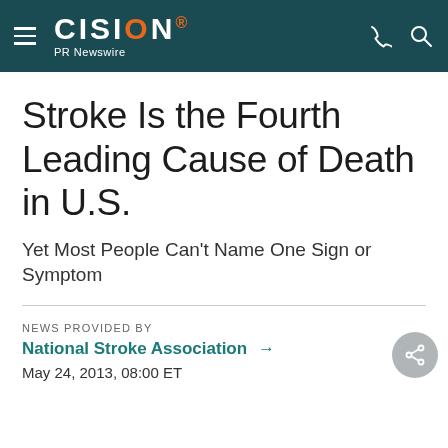CISION PR Newswire
Stroke Is the Fourth Leading Cause of Death in U.S.
Yet Most People Can't Name One Sign or Symptom
NEWS PROVIDED BY
National Stroke Association →
May 24, 2013, 08:00 ET